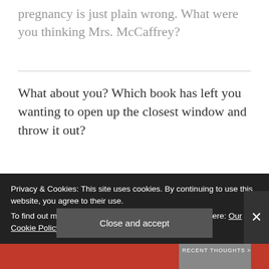pregnancy is just plain wrong. What were you thinking Mrs. McCaffrey?
What about you? Which book has left you wanting to open up the closest window and throw it out?
Privacy & Cookies: This site uses cookies. By continuing to use this website, you agree to their use.
To find out more, including how to control cookies, see here: Our Cookie Policy
Close and accept